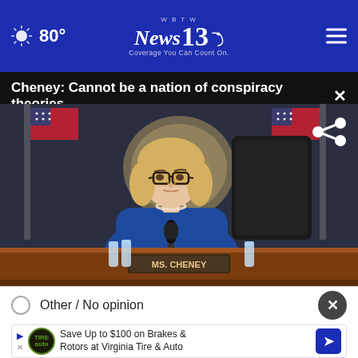80° | WBTW News 13 - Coverage You Can Count On.
Cheney: Cannot be a nation of conspiracy theories
[Figure (photo): Liz Cheney seated at a congressional hearing desk with a nameplate reading MS. CHENEY, wearing a blue jacket, with American flags and the U.S. government seal visible in the background.]
Other / No opinion
Save Up to $100 on Brakes & Rotors at Virginia Tire & Auto